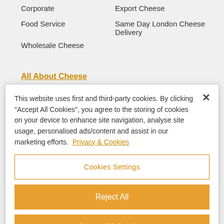Corporate
Export Cheese
Food Service
Same Day London Cheese Delivery
Wholesale Cheese
All About Cheese
This website uses first and third-party cookies. By clicking "Accept All Cookies", you agree to the storing of cookies on your device to enhance site navigation, analyse site usage, personalised ads/content and assist in our marketing efforts. Privacy & Cookies
Cookies Settings
Reject All
Accept All Cookies